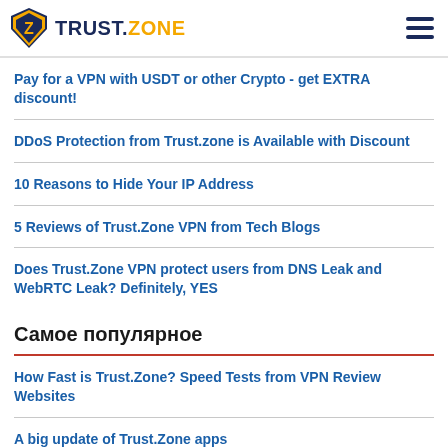TRUST.ZONE
Pay for a VPN with USDT or other Crypto - get EXTRA discount!
DDoS Protection from Trust.zone is Available with Discount
10 Reasons to Hide Your IP Address
5 Reviews of Trust.Zone VPN from Tech Blogs
Does Trust.Zone VPN protect users from DNS Leak and WebRTC Leak? Definitely, YES
Самое популярное
How Fast is Trust.Zone? Speed Tests from VPN Review Websites
A big update of Trust.Zone apps
Trust.Zone VPN Port Forwarding is Now Available with a